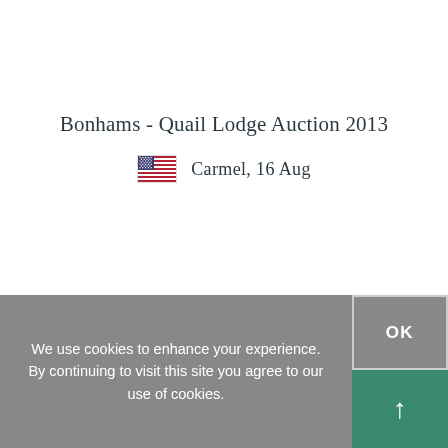Bonhams - Quail Lodge Auction 2013
Carmel, 16 Aug
We use cookies to enhance your experience. By continuing to visit this site you agree to our use of cookies.